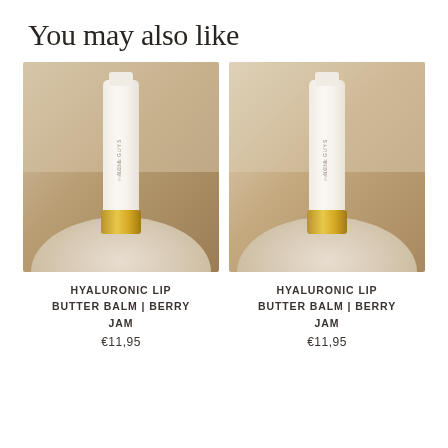You may also like
[Figure (photo): Hyaluronic Lip Butter Balm product tube standing upright on a round surface, golden cap, warm beige/brown gradient background]
HYALURONIC LIP BUTTER BALM | BERRY JAM
€11,95
[Figure (photo): Hyaluronic Lip Butter Balm product tube standing upright on a round surface, golden cap, warm beige/brown gradient background]
HYALURONIC LIP BUTTER BALM | BERRY JAM
€11,95